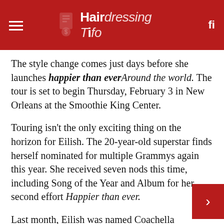Hairdressing Info
The style change comes just days before she launches happier than ever Around the world. The tour is set to begin Thursday, February 3 in New Orleans at the Smoothie King Center.
Touring isn't the only exciting thing on the horizon for Eilish. The 20-year-old superstar finds herself nominated for multiple Grammys again this year. She received seven nods this time, including Song of the Year and Album for her second effort Happier than ever.
Last month, Eilish was named Coachella headliner, also. She takes first place alongside other major artists like Harry Styles, you and Swedish house mafia. The highly anticipated festival takes place